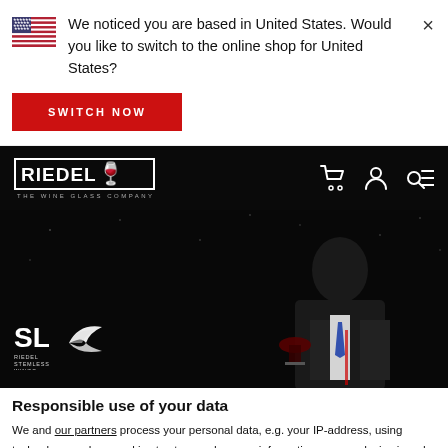We noticed you are based in United States. Would you like to switch to the online shop for United States?
SWITCH NOW
[Figure (screenshot): Riedel website navigation bar with logo, cart icon, user icon, and search/menu icon on black background]
[Figure (photo): Dark background hero image showing a man in a suit holding a wine glass, with SL Riedel Stemless Wings logo on the left]
Responsible use of your data
We and our partners process your personal data, e.g. your IP-address, using technology such as cookies to store and access information on your device in order to serve personalized ads and content, ad and content